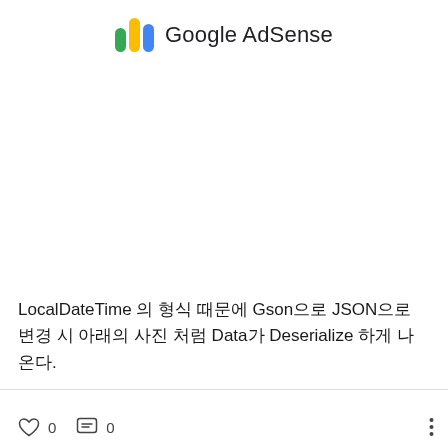[Figure (logo): Google AdSense logo with multicolor icon (green, yellow, blue) and text 'Google AdSense']
LocalDateTime 의 형식 때문에 Gson으로 JSON으로 변경 시 아래의 사진 처럼 Data가 Deserialize 하게 나온다.
0  0  ⋮